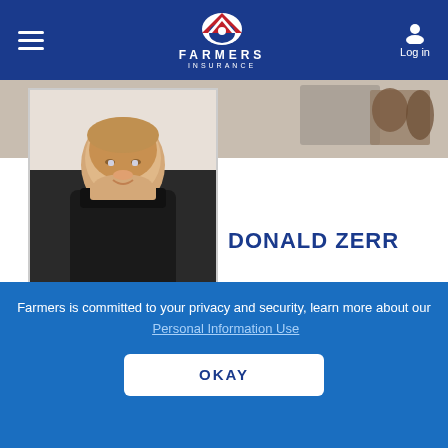FARMERS INSURANCE
[Figure (photo): Agent photo of Donald Zerr, a bald man in a black polo shirt, smiling]
[Figure (photo): Background banner photo showing a home interior scene]
DONALD ZERR
Home Insurance Agent in Grand Forks, ND
GET A QUOTE
CALL ME
Farmers is committed to your privacy and security, learn more about our Personal Information Use
OKAY